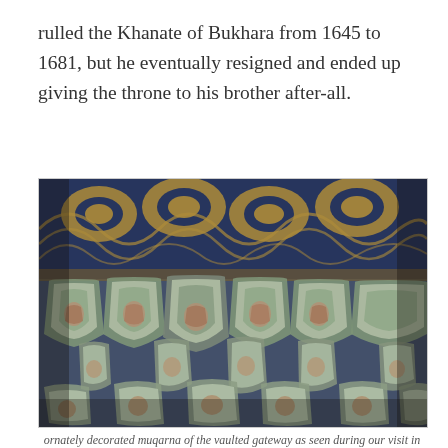rulled the Khanate of Bukhara from 1645 to 1681, but he eventually resigned and ended up giving the throne to his brother after-all.
[Figure (photo): Ornately decorated muqarna (honeycomb vaulting) of a vaulted gateway, featuring intricate Islamic geometric and floral patterns in blue, gold, green, and terracotta colors, photographed looking upward in March 2016.]
ornately decorated muqarna of the vaulted gateway as seen during our visit in March 2016